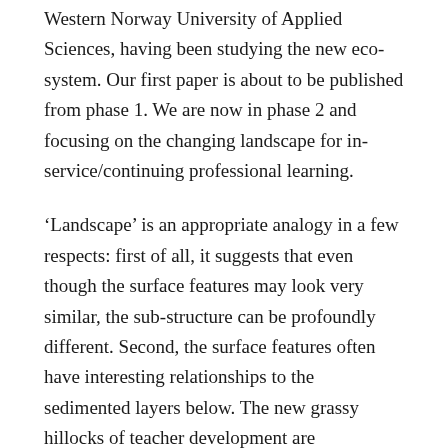Western Norway University of Applied Sciences, having been studying the new eco-system. Our first paper is about to be published from phase 1. We are now in phase 2 and focusing on the changing landscape for in-service/continuing professional learning.
'Landscape' is an appropriate analogy in a few respects: first of all, it suggests that even though the surface features may look very similar, the sub-structure can be profoundly different. Second, the surface features often have interesting relationships to the sedimented layers below. The new grassy hillocks of teacher development are nonetheless laid over geological structure that can lead to some surprising and unintended new features. Another interesting aspect of the landscape analogy is the mix of old and new features, some retained and conserved